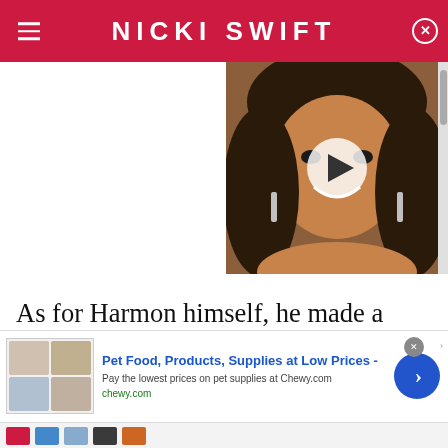NICKI SWIFT
[Figure (photo): Woman smiling at camera with long wavy dark hair and statement earrings, with a video play button overlay]
As for Harmon himself, he made a promise to himself before meeting his future wife that he seems to have very much kept to. "When I marry, I want it to be everything this town says it can't be," he told People in his Sexiest Man Alive interview in 1986, referring to the
[Figure (screenshot): Advertisement banner: Pet Food, Products, Supplies at Low Prices - chewy.com with product images and a blue arrow button]